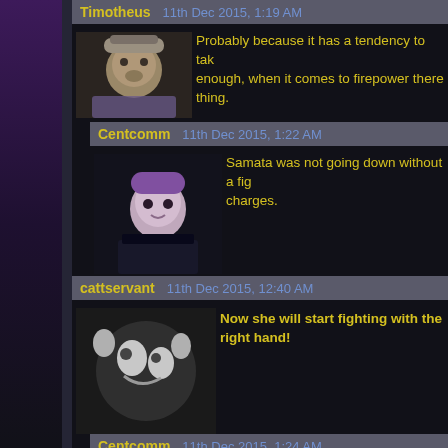Timotheus   11th Dec 2015, 1:19 AM
Probably because it has a tendency to tak enough, when it comes to firepower there thing.
Centcomm   11th Dec 2015, 1:22 AM
Samata was not going down without a fig charges.
cattservant   11th Dec 2015, 12:40 AM
Now she will start fighting with the right hand!
Centcomm   11th Dec 2015, 1:24 AM
rawr .. I will fight you with my left because
Stormwind13   11th Dec 2015, 6:16 AM
"I'm going to duel them (him) left hand